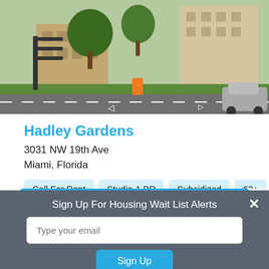[Figure (photo): Street-level photo of Hadley Gardens apartment complex exterior, showing a driveway, green lawn, and multi-story building with trees]
Hadley Gardens
3031 NW 19th Ave
Miami, Florida
Call For Rent
Studio-1 BR
Subsidized
62+
View Apartment
Sign Up For Housing Wait List Alerts
Type your email
Sign Up